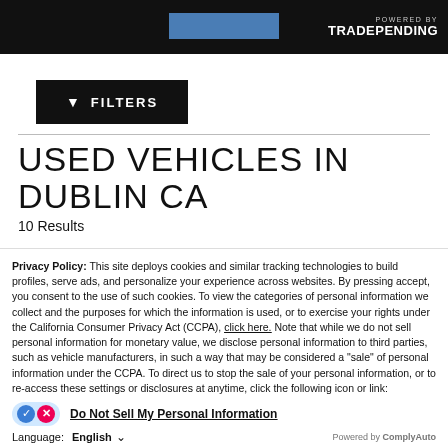[Figure (screenshot): Header bar with TradePending logo on black background, blue rectangle in center]
[Figure (screenshot): Black FILTERS button with funnel icon]
USED VEHICLES IN DUBLIN CA
10 Results
Privacy Policy: This site deploys cookies and similar tracking technologies to build profiles, serve ads, and personalize your experience across websites. By pressing accept, you consent to the use of such cookies. To view the categories of personal information we collect and the purposes for which the information is used, or to exercise your rights under the California Consumer Privacy Act (CCPA), click here. Note that while we do not sell personal information for monetary value, we disclose personal information to third parties, such as vehicle manufacturers, in such a way that may be considered a "sale" of personal information under the CCPA. To direct us to stop the sale of your personal information, or to re-access these settings or disclosures at anytime, click the following icon or link:
Do Not Sell My Personal Information
Language: English
Accept and Continue →
California Privacy Disclosures